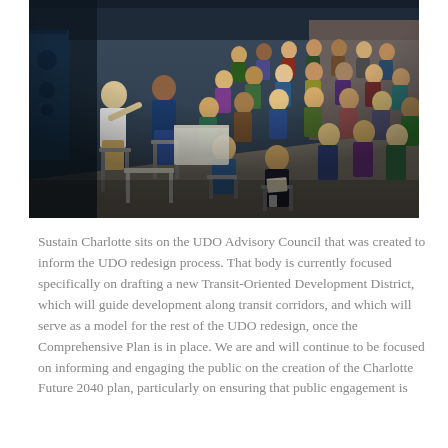[Figure (photo): A large indoor community meeting or public engagement event. A speaker/presenter sits on a stool at the left, facing a large audience seated in chairs filling the room. The setting appears to be a warehouse or industrial space with exposed ceilings and brick walls.]
Sustain Charlotte sits on the UDO Advisory Council that was created to inform the UDO redesign process. That body is currently focused specifically on drafting a new Transit-Oriented Development District, which will guide development along transit corridors, and which will serve as a model for the rest of the UDO redesign, once the Comprehensive Plan is in place. We are and will continue to be focused on informing and engaging the public on the creation of the Charlotte Future 2040 plan, particularly on ensuring that public engagement is